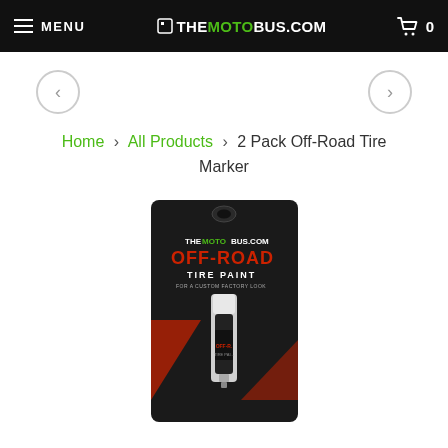MENU | THEMOTOBUS.COM | 0
< >
Home > All Products > 2 Pack Off-Road Tire Marker
[Figure (photo): Product packaging for TheMOTOBus.com Off-Road Tire Paint marker pen, shown in black retail blister card packaging with red and white branding]